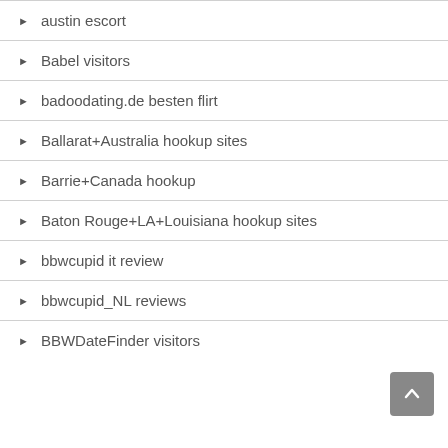austin escort
Babel visitors
badoodating.de besten flirt
Ballarat+Australia hookup sites
Barrie+Canada hookup
Baton Rouge+LA+Louisiana hookup sites
bbwcupid it review
bbwcupid_NL reviews
BBWDateFinder visitors